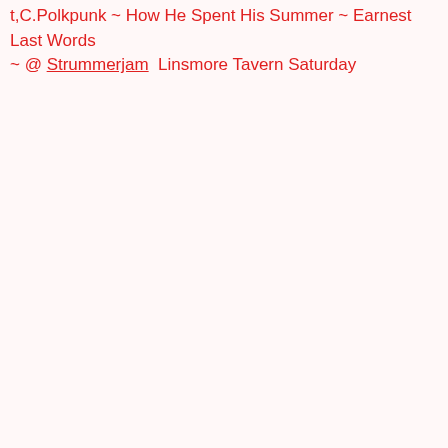t,C.Polkpunk ~ How He Spent His Summer ~ Earnest Last Words ~ @ Strummerjam  Linsmore Tavern Saturday